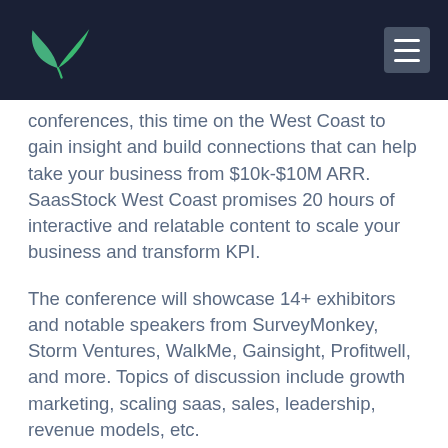[Figure (logo): Green leaf/wing logo on dark navy header bar with hamburger menu icon on the right]
conferences, this time on the West Coast to gain insight and build connections that can help take your business from $10k-$10M ARR. SaasStock West Coast promises 20 hours of interactive and relatable content to scale your business and transform KPI.
The conference will showcase 14+ exhibitors and notable speakers from SurveyMonkey, Storm Ventures, WalkMe, Gainsight, Profitwell, and more. Topics of discussion include growth marketing, scaling saas, sales, leadership, revenue models, etc.
Use promo code BAYLEAFDIGITAL-30 to take 30% off all tickets to SaaStock West